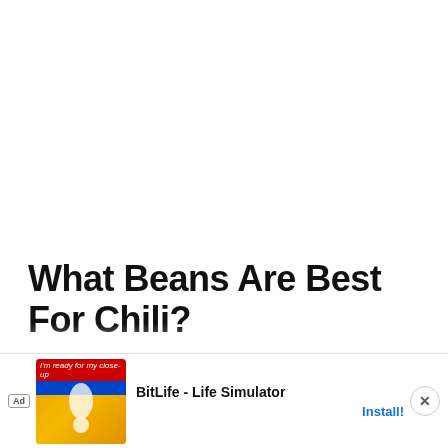What Beans Are Best For Chili?
Pinto beans work for both red and white chili. Kidney (regular & large) and black bean, red, northern and navy work great as well – don't be afraid to mix them up. A good, firm bean is essential, but it also has its distinctions during the cooking...
[Figure (screenshot): Mobile advertisement overlay for BitLife - Life Simulator app, showing an Ad badge, game screenshot thumbnail with orange background, app title 'BitLife - Life Simulator', and an 'Install!' button, with a close (X) button in the top right.]